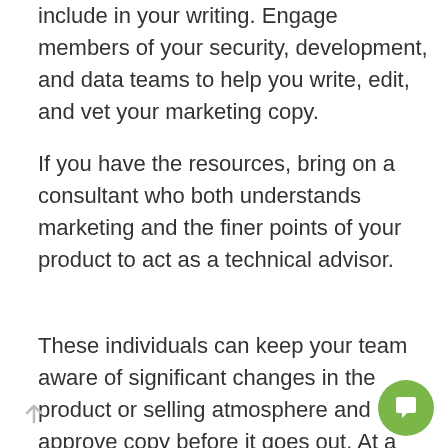include in your writing. Engage members of your security, development, and data teams to help you write, edit, and vet your marketing copy.
If you have the resources, bring on a consultant who both understands marketing and the finer points of your product to act as a technical advisor.
These individuals can keep your team aware of significant changes in the product or selling atmosphere and approve copy before it goes out. At a loss for where to start? Consider speaking to your CISO, director of develop...